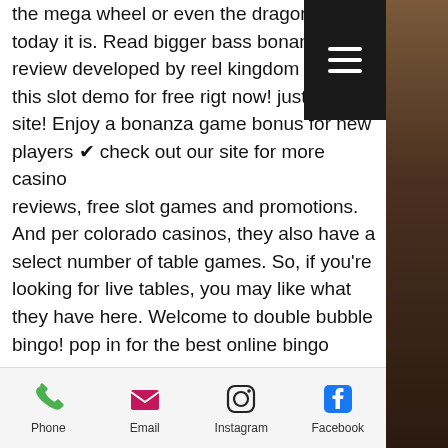the mega wheel or even the dragon tig... today it is. Read bigger bass bonanza review developed by reel kingdom or p... this slot demo for free rigt now! just cli... site! Enjoy a bonanza game bonus for new players ✔ check out our site for more casino reviews, free slot games and promotions. And per colorado casinos, they also have a select number of table games. So, if you're looking for live tables, you may like what they have here. Welcome to double bubble bingo! pop in for the best online bingo games &amp; community, plus all your favourite slots, casino &amp; live casino games (t&amp;cs apply). Play blackjack, slots, roulette, and more!bunko bonanza slot machine is one of the top slots offered by palace of chance casino. Enjoy this slots for free. Play the latest online casino games,
[Figure (other): Black hamburger menu button (three white horizontal lines) in dark background]
[Figure (photo): Dark brown/tan photo of a person on the right side of the page]
[Figure (infographic): Bottom navigation bar with Phone, Email, Instagram, Facebook icons and labels]